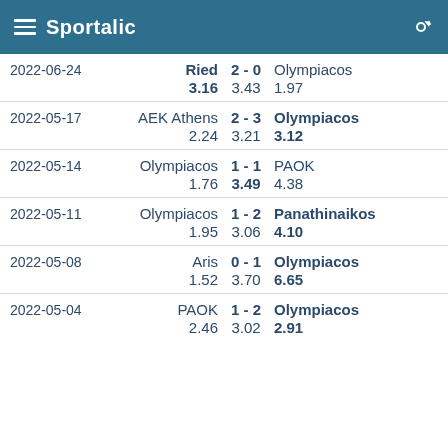Sportalic
| Date | Home | Score | Away | Odds Home | Odds Draw | Odds Away |
| --- | --- | --- | --- | --- | --- | --- |
| 2022-06-24 | Ried | 2 - 0 | Olympiacos | 3.16 | 3.43 | 1.97 |
| 2022-05-17 | AEK Athens | 2 - 3 | Olympiacos | 2.24 | 3.21 | 3.12 |
| 2022-05-14 | Olympiacos | 1 - 1 | PAOK | 1.76 | 3.49 | 4.38 |
| 2022-05-11 | Olympiacos | 1 - 2 | Panathinaikos | 1.95 | 3.06 | 4.10 |
| 2022-05-08 | Aris | 0 - 1 | Olympiacos | 1.52 | 3.70 | 6.65 |
| 2022-05-04 | PAOK | 1 - 2 | Olympiacos | 2.46 | 3.02 | 2.91 |